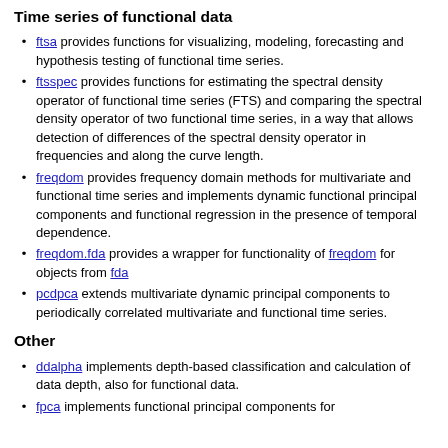Time series of functional data
ftsa provides functions for visualizing, modeling, forecasting and hypothesis testing of functional time series.
ftsspec provides functions for estimating the spectral density operator of functional time series (FTS) and comparing the spectral density operator of two functional time series, in a way that allows detection of differences of the spectral density operator in frequencies and along the curve length.
freqdom provides frequency domain methods for multivariate and functional time series and implements dynamic functional principal components and functional regression in the presence of temporal dependence.
freqdom.fda provides a wrapper for functionality of freqdom for objects from fda
pcdpca extends multivariate dynamic principal components to periodically correlated multivariate and functional time series.
Other
ddalpha implements depth-based classification and calculation of data depth, also for functional data.
fpca implements functional principal components for